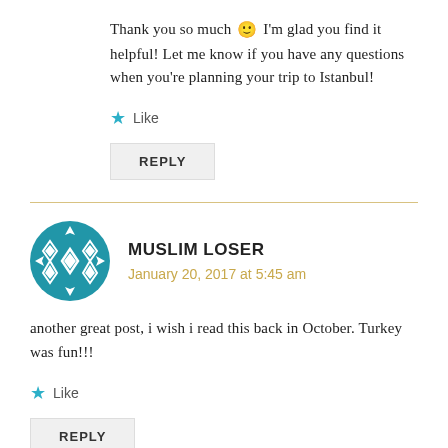Thank you so much 🙂 I'm glad you find it helpful! Let me know if you have any questions when you're planning your trip to Istanbul!
★ Like
REPLY
MUSLIM LOSER
January 20, 2017 at 5:45 am
another great post, i wish i read this back in October. Turkey was fun!!!
★ Like
REPLY